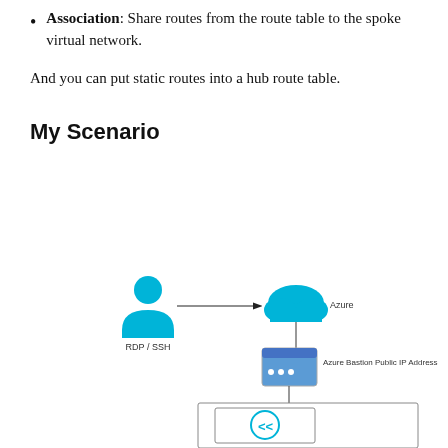Association: Share routes from the route table to the spoke virtual network.
And you can put static routes into a hub route table.
My Scenario
[Figure (network-graph): Network diagram showing a user (RDP/SSH) connecting to Azure cloud, which connects down to Azure Bastion Public IP Address, then to a subnet containing an RDP icon.]